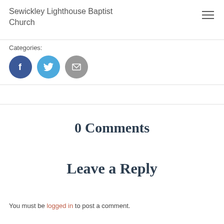Sewickley Lighthouse Baptist Church
Categories:
[Figure (infographic): Three social share buttons: Facebook (dark blue circle with white f), Twitter (light blue circle with white bird icon), Email (gray circle with white envelope icon)]
0 Comments
Leave a Reply
You must be logged in to post a comment.